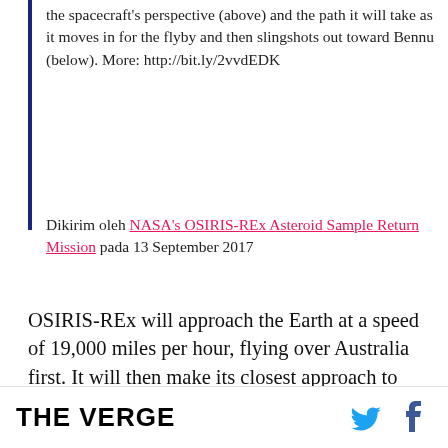the spacecraft's perspective (above) and the path it will take as it moves in for the flyby and then slingshots out toward Bennu (below). More: http://bit.ly/2vvdEDK
Dikirim oleh NASA's OSIRIS-REx Asteroid Sample Return Mission pada 13 September 2017
OSIRIS-REx will approach the Earth at a speed of 19,000 miles per hour, flying over Australia first. It will then make its closest approach to Earth at 12:52PM ET, coming within 11,000 miles of Antarctica. Around that time, the vehicle will lose contact with NASA since it will be out of range with
THE VERGE